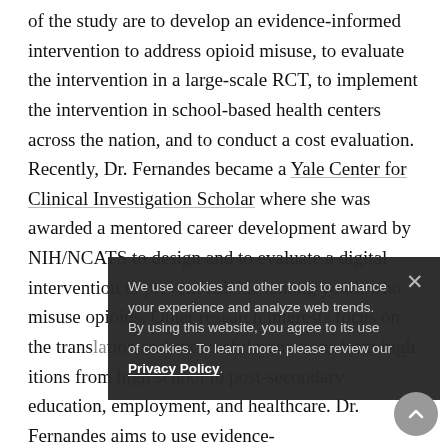of the study are to develop an evidence-informed intervention to address opioid misuse, to evaluate the intervention in a large-scale RCT, to implement the intervention in school-based health centers across the nation, and to conduct a cost evaluation. Recently, Dr. Fernandes became a Yale Center for Clinical Investigation Scholar where she was awarded a mentored career development award by NIH/NCATS to design and to evaluate a digital intervention to prevent suicide among youth who misuse opioids. Other research interests focus on the trans[lation...] and successful transitions from high school to post-secondary education, employment, and healthcare. Dr. Fernandes aims to use evidence-[based approaches for funding...]
We use cookies and other tools to enhance your experience and analyze web trends. By using this website, you agree to its use of cookies. To learn more, please review our Privacy Policy.